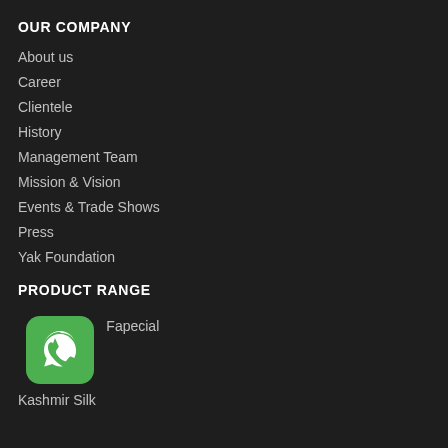OUR COMPANY
About us
Career
Clientele
History
Management Team
Mission & Vision
Events & Trade Shows
Press
Yak Foundation
PRODUCT RANGE
Fa  pecial
Kashmir Silk
[Figure (logo): WhatsApp green rounded square icon with white phone/chat bubble logo]